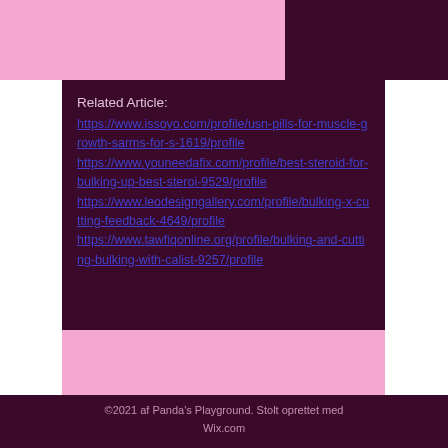[Figure (other): Navigation hamburger menu icon (three horizontal lines) on dark maroon background]
Related Article:
https://www.issoyo.com/profile/usn-pills-for-muscle-growth-sarms-for-s-1619/profile
https://www.youneedafix.com/profile/best-steroid-for-bulking-up-best-steroi-9529/profile
https://www.leodesigngallery.com/profile/bulking-x-cutting-feedback-4649/profile
https://www.tawfiqonline.org/profile/bulking-and-cutting-bulking-with-calist-9257/profile
©2021 af Panda's Playground. Stolt oprettet med Wix.com